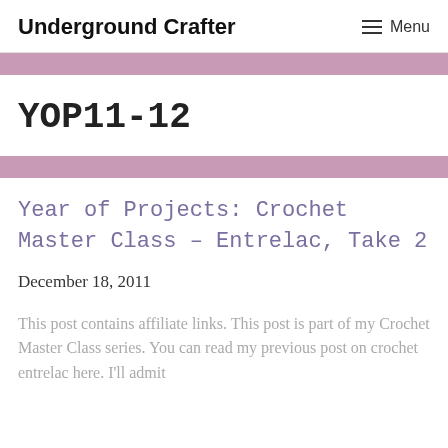Underground Crafter | Menu
YOP11-12
Year of Projects: Crochet Master Class – Entrelac, Take 2
December 18, 2011
This post contains affiliate links. This post is part of my Crochet Master Class series. You can read my previous post on crochet entrelac here. I'll admit